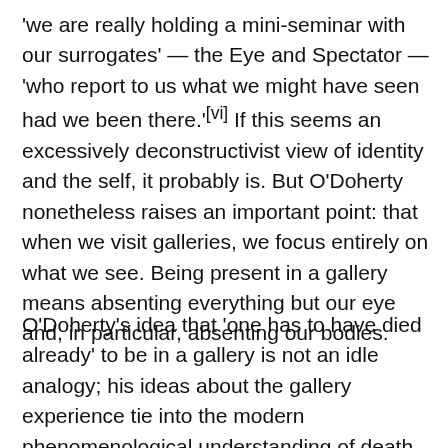'we are really holding a mini-seminar with our surrogates' — the Eye and Spectator — 'who report to us what we might have seen had we been there.'[vi] If this seems an excessively deconstructivist view of identity and the self, it probably is. But O'Doherty nonetheless raises an important point: that when we visit galleries, we focus entirely on what we see. Being present in a gallery means absenting everything but our eye and, in particular, absenting our bodies.
O'Doherty's idea that 'one has to have died already' to be in a gallery is not an idle analogy; his ideas about the gallery experience tie into the modern phenomenological understanding of death. Heidegger has spoken of death as 'the shrine of Nothing, that is, of that which in every